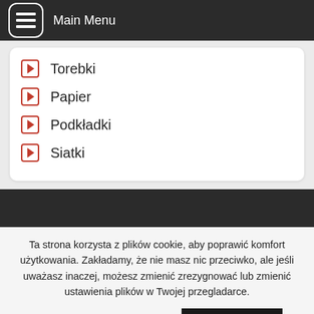Main Menu
Torebki
Papier
Podkładki
Siatki
Ta strona korzysta z plików cookie, aby poprawić komfort użytkowania. Zakładamy, że nie masz nic przeciwko, ale jeśli uważasz inaczej, możesz zmienić zrezygnować lub zmienić ustawienia plików w Twojej przegladarce.
Ustawienia plików cookie
AKCEPTUJE